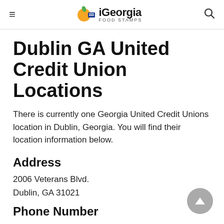iGeorgia FOOD STAMPS
Dublin GA United Credit Union Locations
There is currently one Georgia United Credit Unions location in Dublin, Georgia. You will find their location information below.
Address
2006 Veterans Blvd.
Dublin, GA 31021
Phone Number